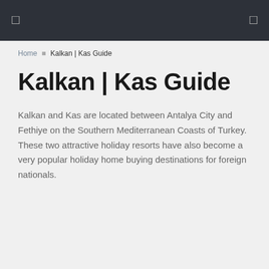[ ] [ ]
Home » Kalkan | Kas Guide
Kalkan | Kas Guide
Kalkan and Kas are located between Antalya City and Fethiye on the Southern Mediterranean Coasts of Turkey. These two attractive holiday resorts have also become a very popular holiday home buying destinations for foreign nationals.